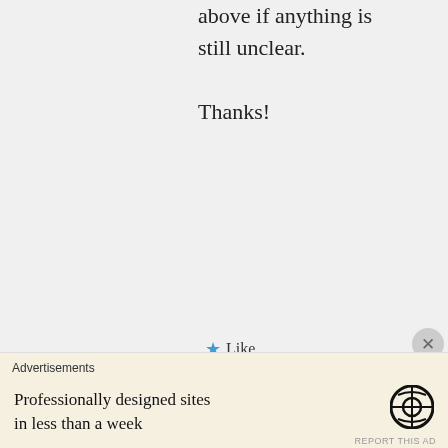above if anything is still unclear.

Thanks!
Like
Reply
Jeremy Horn on June 28
Advertisements
Professionally designed sites in less than a week